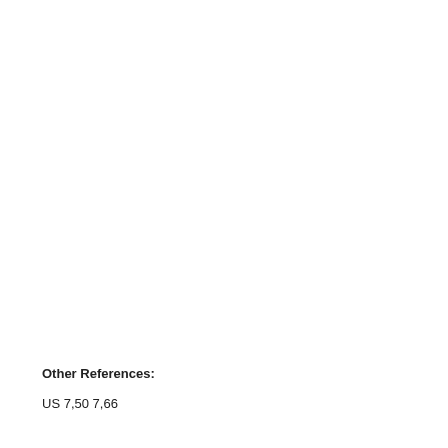Other References:
US 7,50 7,66